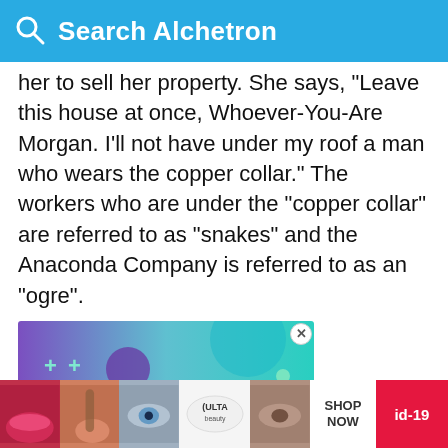Search Alchetron
her to sell her property. She says, "Leave this house at once, Whoever-You-Are Morgan. I'll not have under my roof a man who wears the copper collar." The workers who are under the "copper collar" are referred to as "snakes" and the Anaconda Company is referred to as an "ogre".
[Figure (other): Advertisement banner for headerbidding.com with purple to teal gradient background, plus signs and circle decorations, and large white text reading HEADER BIDDING.COM]
[Figure (other): Bottom advertisement bar showing Ulta Beauty products with makeup photos, ULTA logo, SHOP NOW text, and id-19 badge in red]